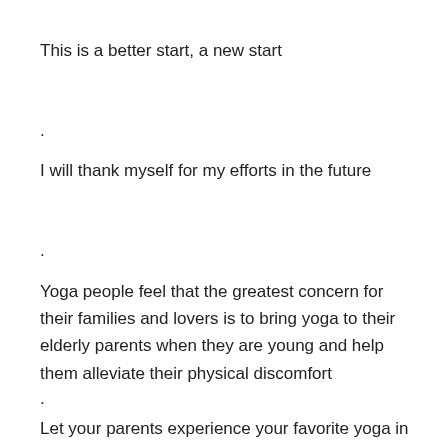This is a better start, a new start
.
I will thank myself for my efforts in the future
.
Yoga people feel that the greatest concern for their families and lovers is to bring yoga to their elderly parents when they are young and help them alleviate their physical discomfort
.
Let your parents experience your favorite yoga in the